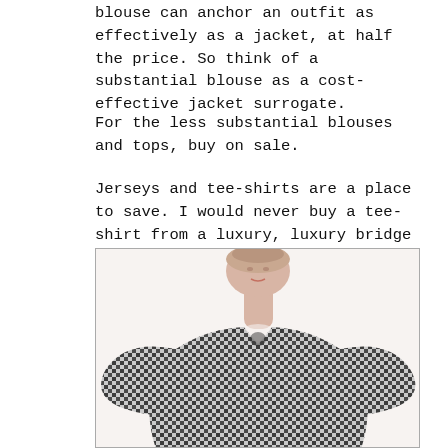blouse can anchor an outfit as effectively as a jacket, at half the price. So think of a substantial blouse as a cost-effective jacket surrogate.
For the less substantial blouses and tops, buy on sale.
Jerseys and tee-shirts are a place to save. I would never buy a tee-shirt from a luxury, luxury bridge or contemporary brand.
[Figure (photo): A woman wearing a black and white gingham check blouse with large dramatic puffed/ruffled sleeves and a bow tie neckline, photographed from the shoulders up against a white background.]